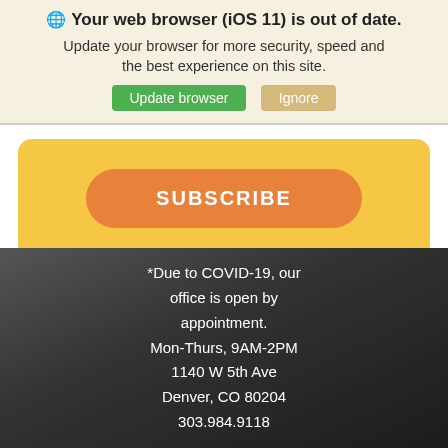🌐 Your web browser (iOS 11) is out of date.
Update your browser for more security, speed and the best experience on this site.
Update browser   Ignore
[Figure (screenshot): Orange SUBSCRIBE button on a yellow rounded card background]
*Due to COVID-19, our office is open by appointment.
Mon-Thurs, 9AM-2PM
1140 W 5th Ave
Denver, CO 80204
303.984.9118